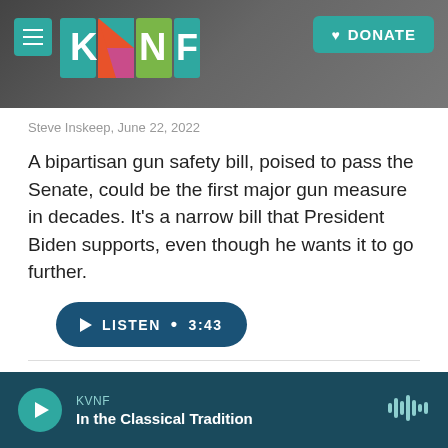[Figure (logo): KVNF public radio website header with logo and navigation. Colorful geometric KVNF logo with teal menu button on left and teal DONATE button on right, over a dark stone/rock background.]
Steve Inskeep, June 22, 2022
A bipartisan gun safety bill, poised to pass the Senate, could be the first major gun measure in decades. It's a narrow bill that President Biden supports, even though he wants it to go further.
LISTEN • 3:43
Load More
KVNF
In the Classical Tradition